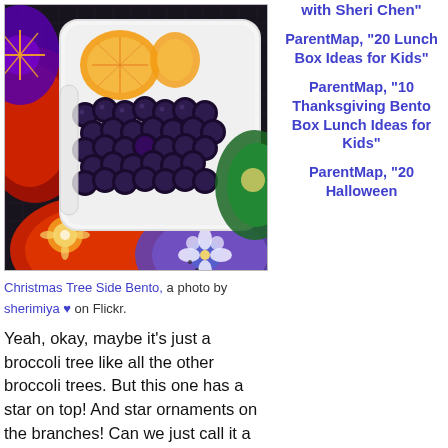[Figure (photo): A bento box with blackberries and orange segments, surrounded by decorative Japanese-style plates with floral patterns in red, blue, purple and gold on a dark background.]
Christmas Tree Side Bento, a photo by sherimiya ♥ on Flickr.
Yeah, okay, maybe it's just a broccoli tree like all the other broccoli trees. But this one has a star on top! And star ornaments on the branches! Can we just call it a Christmas tree bento? I hope she'll go for it! Besides the festive
ParentMap, "20 Lunch Box Ideas for Kids"
ParentMap, "10 Thanksgiving Bento Box Lunch Ideas for Kids"
ParentMap, "20 Halloween
with Sheri Chen"